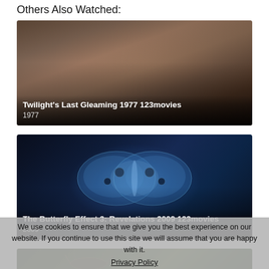Others Also Watched:
[Figure (photo): Movie thumbnail for Twilight's Last Gleaming 1977 showing a close-up of an older man's face with dramatic lighting]
Twilight's Last Gleaming 1977 123movies
1977
[Figure (photo): Movie thumbnail for The Butterfly Effect 3: Revelations 2009 showing a glowing blue butterfly against a dark background]
The Butterfly Effect 3: Revelations 2009 123movies
2009
[Figure (photo): Partial movie thumbnail showing a jungle/nature scene with flying creatures]
We use cookies to ensure that we give you the best experience on our website. If you continue to use this site we will assume that you are happy with it.
Privacy Policy